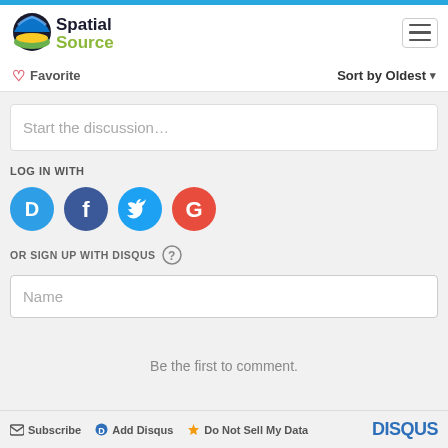[Figure (logo): Spatial Source logo with colorful globe icon and two-tone text]
Favorite
Sort by Oldest
Start the discussion...
LOG IN WITH
[Figure (illustration): Social login icons: Disqus (blue), Facebook (dark blue), Twitter (light blue), Google (red)]
OR SIGN UP WITH DISQUS
Name
Be the first to comment.
Subscribe  Add Disqus  Do Not Sell My Data  DISQUS